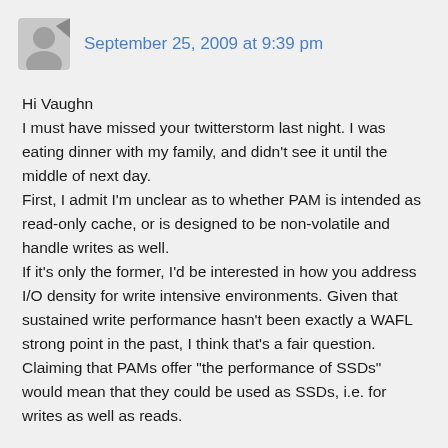September 25, 2009 at 9:39 pm
Hi Vaughn
I must have missed your twitterstorm last night. I was eating dinner with my family, and didn't see it until the middle of next day.
First, I admit I'm unclear as to whether PAM is intended as read-only cache, or is designed to be non-volatile and handle writes as well.
If it's only the former, I'd be interested in how you address I/O density for write intensive environments. Given that sustained write performance hasn't been exactly a WAFL strong point in the past, I think that's a fair question.
Claiming that PAMs offer "the performance of SSDs" would mean that they could be used as SSDs, i.e. for writes as well as reads.